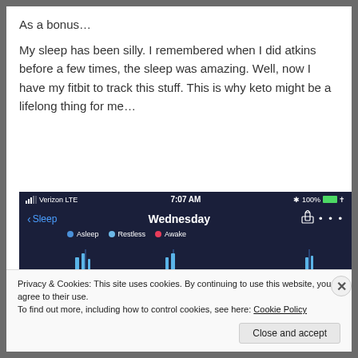As a bonus…
My sleep has been silly.  I remembered when I did atkins before a few times, the sleep was amazing.  Well, now I have my fitbit to track this stuff.  This is why keto might be a lifelong thing for me…
[Figure (screenshot): Fitbit app screenshot showing sleep tracking for Wednesday. Status bar shows Verizon LTE, 7:07 AM, 100% battery. Header shows back arrow with 'Sleep' label, title 'Wednesday', share icon and ellipsis menu. Legend shows Asleep (blue), Restless (light blue), Awake (pink). Chart shows sleep pattern bar chart with blue bars on dark navy background.]
Privacy & Cookies: This site uses cookies. By continuing to use this website, you agree to their use.
To find out more, including how to control cookies, see here: Cookie Policy